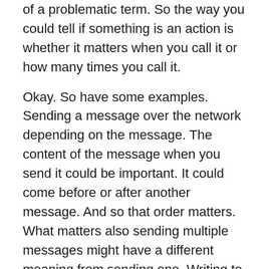of a problematic term. So the way you could tell if something is an action is whether it matters when you call it or how many times you call it.
Okay. So have some examples. Sending a message over the network depending on the message. The content of the message when you send it could be important. It could come before or after another message. And so that order matters. What matters also sending multiple messages might have a different meaning from sending one. Writing to the file system if you read and write to the file on the disk. Other things can read it so it depends on if you wrote first or they read first. What effect the system is going to have? And then, of course, in memory, changing mutable state or even reading from it when you read from it is important.